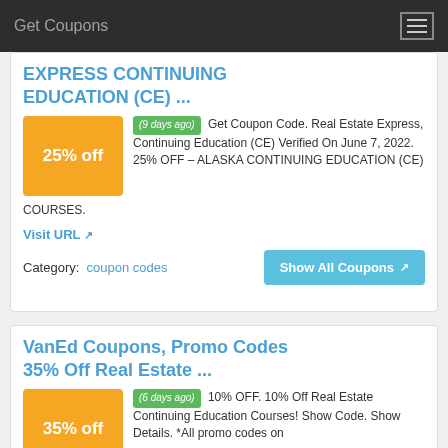Get Coupons
EXPRESS CONTINUING EDUCATION (CE) ...
(9 days ago) Get Coupon Code. Real Estate Express, Continuing Education (CE) Verified On June 7, 2022. 25% OFF – ALASKA CONTINUING EDUCATION (CE) COURSES.
Visit URL
Category: coupon codes
Show All Coupons
VanEd Coupons, Promo Codes 35% Off Real Estate ...
(6 days ago) 10% OFF. 10% Off Real Estate Continuing Education Courses! Show Code. Show Details. *All promo codes on